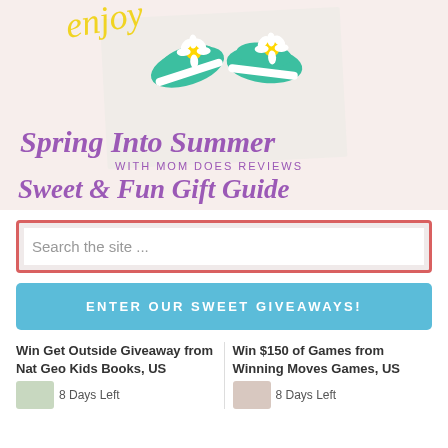[Figure (illustration): Spring Into Summer with Mom Does Reviews Sweet & Fun Gift Guide promotional banner with green sneakers decorated with daisy flowers, purple and yellow handwritten-style text, pink background]
Search the site ...
ENTER OUR SWEET GIVEAWAYS!
Win Get Outside Giveaway from Nat Geo Kids Books, US
8 Days Left
Win $150 of Games from Winning Moves Games, US
8 Days Left